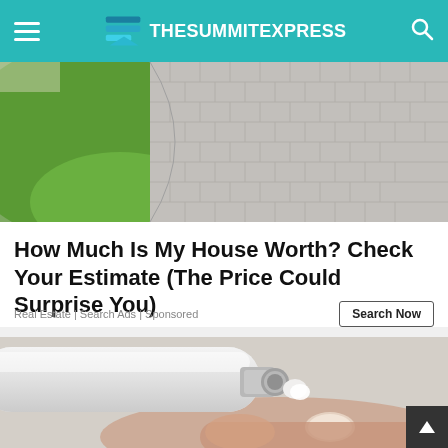TheSummitExpress
[Figure (photo): Aerial view of a paved brick driveway with green grass lawn beside it]
How Much Is My House Worth? Check Your Estimate (The Price Could Surprise You)
Real Estate | Search Ads | Sponsored
[Figure (photo): Close-up of a hand squeezing white cream out of a tube]